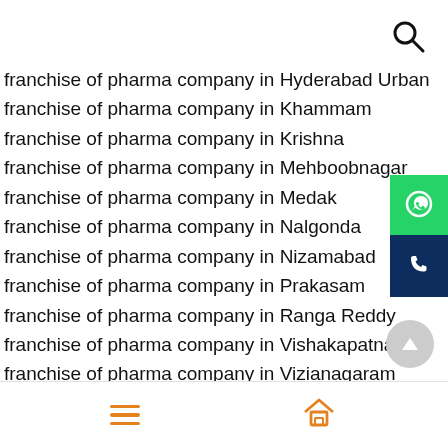[Figure (other): Search magnifying glass icon in top right corner]
franchise of pharma company in Hyderabad Urban
franchise of pharma company in Khammam
franchise of pharma company in Krishna
franchise of pharma company in Mehboobnagar
franchise of pharma company in Medak
franchise of pharma company in Nalgonda
franchise of pharma company in Nizamabad
franchise of pharma company in Prakasam
franchise of pharma company in Ranga Reddy
franchise of pharma company in Vishakapatnam
franchise of pharma company in Vizianagaram
franchise of pharma company in Warangal
[Figure (other): WhatsApp icon button (green background)]
[Figure (other): Phone call icon button (dark navy background)]
[Figure (other): Scroll-to-top up arrow circle button (grey)]
Hamburger menu icon and Home icon navigation bar at bottom